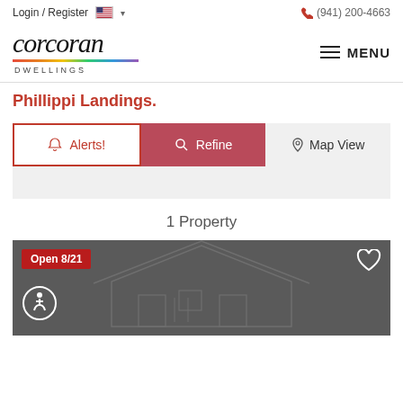Login / Register  (941) 200-4663
[Figure (logo): Corcoran Dwellings logo with italic script text and rainbow underline]
Phillippi Landings.
Alerts!  Refine  Map View
1 Property
[Figure (photo): Property listing card with dark background, house silhouette outline, Open 8/21 badge in red, heart icon, and wheelchair accessibility icon]